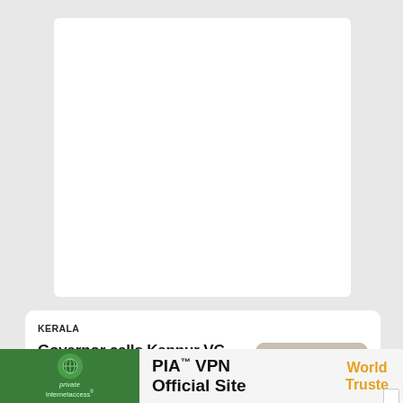[Figure (other): White card/rectangle placeholder at top of page]
KERALA
Governor calls Kannur VC 'criminal', alleges conspiracy to attack him
[Figure (photo): Photo of an elderly man in a dark vest speaking and gesturing with one finger raised]
Aug 21, 2022   #kannur university appointmen…
[Figure (other): Advertisement banner: PIA VPN Official Site with Private Internet Access logo and 'World Truste' text in orange]